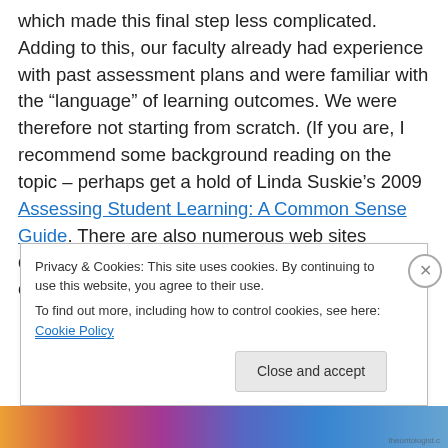which made this final step less complicated. Adding to this, our faculty already had experience with past assessment plans and were familiar with the “language” of learning outcomes. We were therefore not starting from scratch. (If you are, I recommend some background reading on the topic – perhaps get a hold of Linda Suskie’s 2009 Assessing Student Learning: A Common Sense Guide. There are also numerous web sites devoted to the topic of “writing learning outcomes”).
Privacy & Cookies: This site uses cookies. By continuing to use this website, you agree to their use. To find out more, including how to control cookies, see here: Cookie Policy